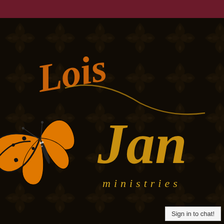[Figure (logo): Lois Jane Ministries logo on dark damask background with orange monarch butterfly. Script text 'Lois' in orange-brown and 'Jan' (James) in gold, with 'ministries' in gold italic below. Dark floral damask background pattern. Maroon/dark red bar at top.]
Sign in to chat!